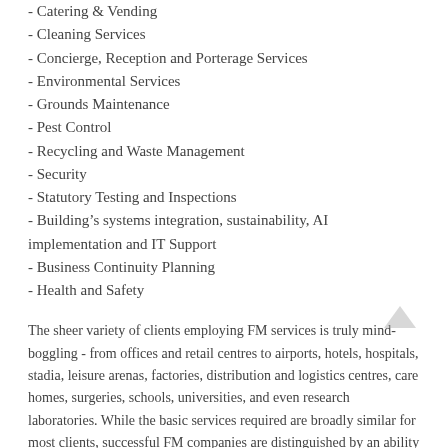- Catering & Vending
- Cleaning Services
- Concierge, Reception and Porterage Services
- Environmental Services
- Grounds Maintenance
- Pest Control
- Recycling and Waste Management
- Security
- Statutory Testing and Inspections
- Building’s systems integration, sustainability, AI implementation and IT Support
- Business Continuity Planning
- Health and Safety
The sheer variety of clients employing FM services is truly mind-boggling - from offices and retail centres to airports, hotels, hospitals, stadia, leisure arenas, factories, distribution and logistics centres, care homes, surgeries, schools, universities, and even research laboratories. While the basic services required are broadly similar for most clients, successful FM companies are distinguished by an ability to adapt and change services to meet specific client requirements.
HOW DOES RADIOCOMMUNICATION